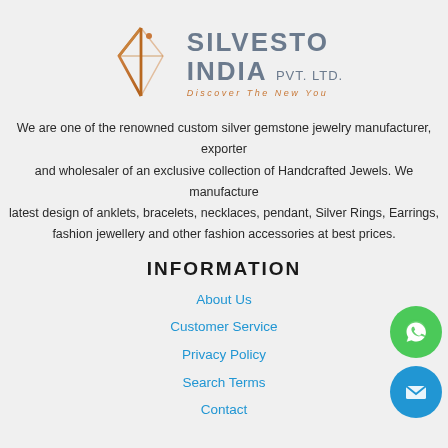[Figure (logo): Silvesto India Pvt. Ltd. logo with diamond/gem shape icon in orange/brown gradient and company name text with tagline 'Discover The New You']
We are one of the renowned custom silver gemstone jewelry manufacturer, exporter and wholesaler of an exclusive collection of Handcrafted Jewels. We manufacture latest design of anklets, bracelets, necklaces, pendant, Silver Rings, Earrings, fashion jewellery and other fashion accessories at best prices.
INFORMATION
About Us
Customer Service
Privacy Policy
Search Terms
Contact